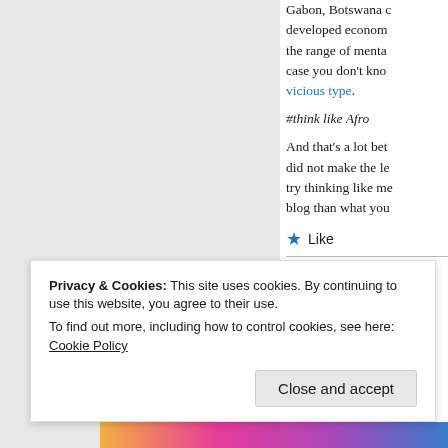Gabon, Botswana c… developed econom… the range of menta… case you don't kno… vicious type.
#think like Afro
And that's a lot bet… did not make the le… try thinking like me… blog than what you…
★ Like
Privacy & Cookies: This site uses cookies. By continuing to use this website, you agree to their use.
To find out more, including how to control cookies, see here: Cookie Policy
Close and accept